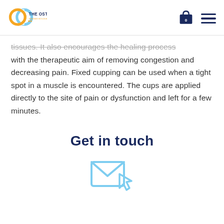The Osteo Clinic
tissues. It also encourages the healing process with the therapeutic aim of removing congestion and decreasing pain. Fixed cupping can be used when a tight spot in a muscle is encountered. The cups are applied directly to the site of pain or dysfunction and left for a few minutes.
Get in touch
[Figure (illustration): An envelope icon with a cursor arrow, indicating a contact/email button]